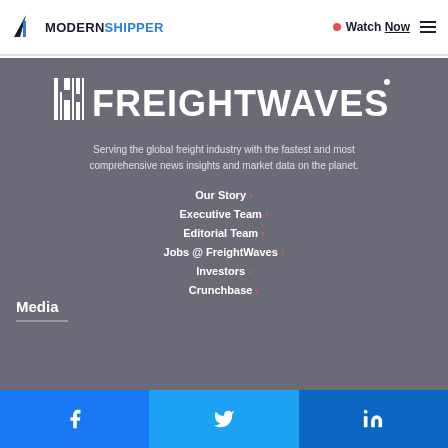MODERN SHIPPER | Watch Now
[Figure (logo): FreightWaves logo — white barcode icon and FREIGHTWAVES wordmark on dark gray background]
Serving the global freight industry with the fastest and most comprehensive news insights and market data on the planet.
Our Story ›
Executive Team ›
Editorial Team ›
Jobs @ FreightWaves ›
Investors ›
Crunchbase ›
Media
[Figure (logo): Social media bar with Facebook, Twitter, and LinkedIn icons]